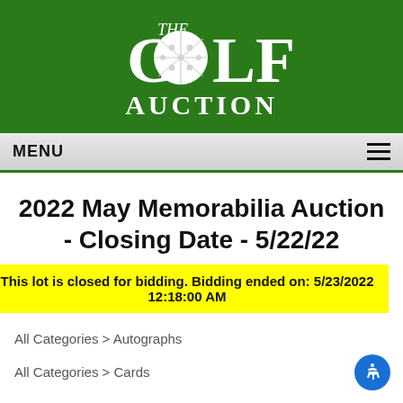[Figure (logo): The Golf Auction logo — white serif text on green background with golf ball replacing the O in GOLF]
MENU
2022 May Memorabilia Auction - Closing Date - 5/22/22
This lot is closed for bidding. Bidding ended on: 5/23/2022 12:18:00 AM
All Categories > Autographs
All Categories > Cards